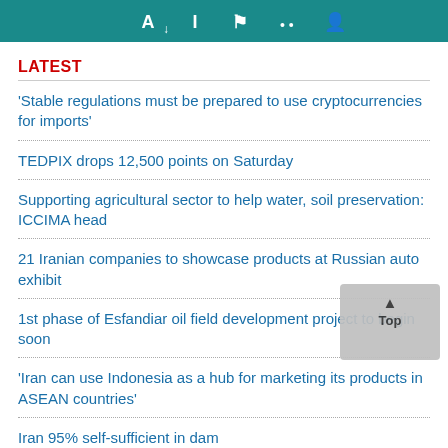[Figure (screenshot): Teal/dark cyan top navigation bar with icons for text size, sharing, and user profile]
LATEST
'Stable regulations must be prepared to use cryptocurrencies for imports'
TEDPIX drops 12,500 points on Saturday
Supporting agricultural sector to help water, soil preservation: ICCIMA head
21 Iranian companies to showcase products at Russian auto exhibit
1st phase of Esfandiar oil field development project to begin soon
'Iran can use Indonesia as a hub for marketing its products in ASEAN countries'
Iran 95% self-sufficient in dam construction: expert
Bombing at evening prayers in Kabul kills 21
Export from Khuzestan rises 24% in 4 months on year